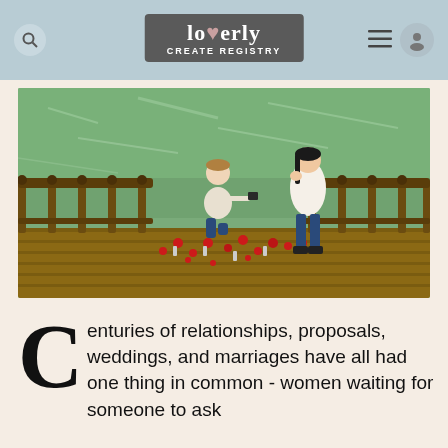loverly CREATE REGISTRY
[Figure (photo): A man on one knee proposing to a woman on a wooden bridge decorated with red flowers and flower vases, with a green lake in the background.]
Centuries of relationships, proposals, weddings, and marriages have all had one thing in common - women waiting for someone to ask